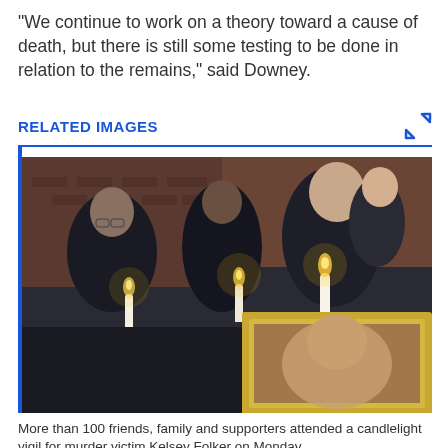"We continue to work on a theory toward a cause of death, but there is still some testing to be done in relation to the remains," said Downey.
RELATED IMAGES
[Figure (photo): Three women holding candles at a candlelight vigil, one holding a framed photograph. The scene appears to be outdoors at night near a brick building.]
More than 100 friends, family and supporters attended a candlelight vigil for murder victim Kelsey Folker on Monday